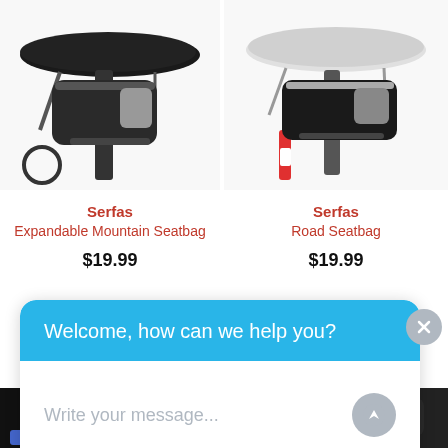[Figure (photo): Serfas Expandable Mountain Seatbag mounted under a bicycle saddle, black bag]
[Figure (photo): Serfas Road Seatbag mounted under a white bicycle saddle, grey/black bag with reflective strip]
Serfas
Expandable Mountain Seatbag
$19.99
Serfas
Road Seatbag
$19.99
[Figure (screenshot): Chat widget overlay with header 'Welcome, how can we help you?' and input placeholder 'Write your message...']
[Figure (photo): Partial view of additional bike bags at the bottom of the page]